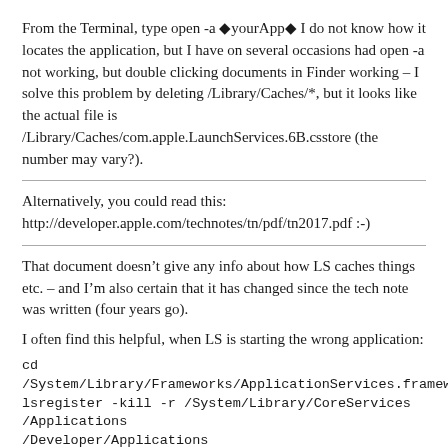From the Terminal, type open -a ◆yourApp◆ I do not know how it locates the application, but I have on several occasions had open -a not working, but double clicking documents in Finder working – I solve this problem by deleting /Library/Caches/*, but it looks like the actual file is /Library/Caches/com.apple.LaunchServices.6B.csstore (the number may vary?).
Alternatively, you could read this: http://developer.apple.com/technotes/tn/pdf/tn2017.pdf :-)
That document doesn’t give any info about how LS caches things etc. – and I’m also certain that it has changed since the tech note was written (four years go).
I often find this helpful, when LS is starting the wrong application:
cd
/System/Library/Frameworks/ApplicationServices.framework/Frameworks/LaunchServices.framework/Support
lsregister -kill -r /System/Library/CoreServices /Applications /Developer/Applications